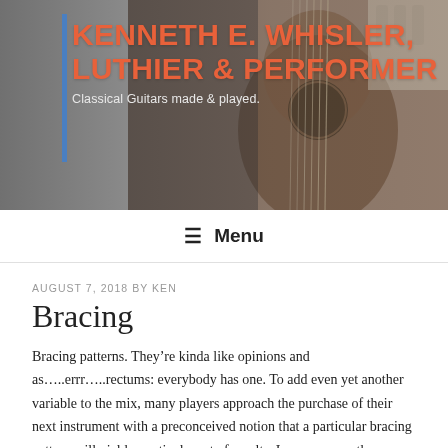[Figure (photo): Header banner showing a close-up of a classical guitar with strings and body visible, dark background with warm tones]
KENNETH E. WHISLER, LUTHIER & PERFORMER
Classical Guitars made & played.
☰ Menu
AUGUST 7, 2018 BY KEN
Bracing
Bracing patterns. They're kinda like opinions and as…..errr…..rectums: everybody has one. To add even yet another variable to the mix, many players approach the purchase of their next instrument with a preconceived notion that a particular bracing pattern will yield a particular set of results. I was once on the consumer side, so I once was just as guilty of this.